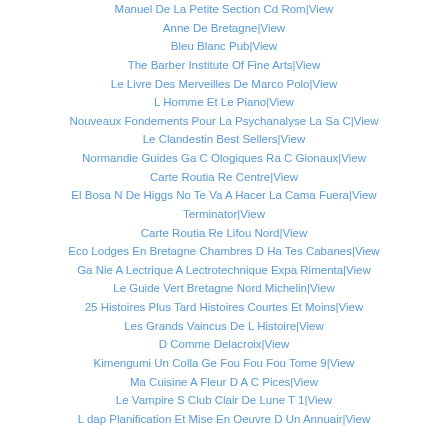Manuel De La Petite Section Cd Rom|View
Anne De Bretagne|View
Bleu Blanc Pub|View
The Barber Institute Of Fine Arts|View
Le Livre Des Merveilles De Marco Polo|View
L Homme Et Le Piano|View
Nouveaux Fondements Pour La Psychanalyse La Sa C|View
Le Clandestin Best Sellers|View
Normandie Guides Ga C Ologiques Ra C Gionaux|View
Carte Routia Re Centre|View
El Bosa N De Higgs No Te Va A Hacer La Cama Fuera|View
Terminator|View
Carte Routia Re Lifou Nord|View
Eco Lodges En Bretagne Chambres D Ha Tes Cabanes|View
Ga Nie A Lectrique A Lectrotechnique Expa Rimenta|View
Le Guide Vert Bretagne Nord Michelin|View
25 Histoires Plus Tard Histoires Courtes Et Moins|View
Les Grands Vaincus De L Histoire|View
D Comme Delacroix|View
Kimengumi Un Colla Ge Fou Fou Fou Tome 9|View
Ma Cuisine A Fleur D A C Pices|View
Le Vampire S Club Clair De Lune T 1|View
L dap Planification Et Mise En Oeuvre D Un Annuair|View